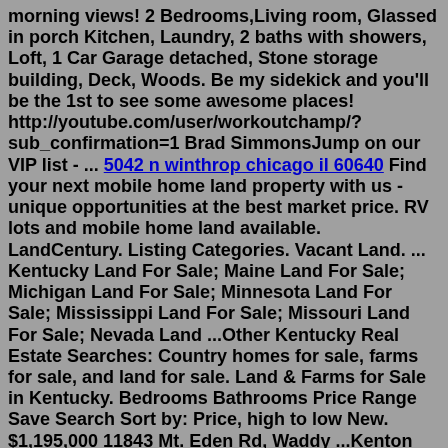morning views! 2 Bedrooms,Living room, Glassed in porch Kitchen, Laundry, 2 baths with showers, Loft, 1 Car Garage detached, Stone storage building, Deck, Woods. Be my sidekick and you'll be the 1st to see some awesome places! http://youtube.com/user/workoutchamp/?sub_confirmation=1 Brad SimmonsJump on our VIP list - ... 5042 n winthrop chicago il 60640 Find your next mobile home land property with us - unique opportunities at the best market price. RV lots and mobile home land available. LandCentury. Listing Categories. Vacant Land. ... Kentucky Land For Sale; Maine Land For Sale; Michigan Land For Sale; Minnesota Land For Sale; Mississippi Land For Sale; Missouri Land For Sale; Nevada Land ...Other Kentucky Real Estate Searches: Country homes for sale, farms for sale, and land for sale. Land & Farms for Sale in Kentucky. Bedrooms Bathrooms Price Range Save Search Sort by: Price, high to low New. $1,195,000 11843 Mt. Eden Rd, Waddy ...Kenton